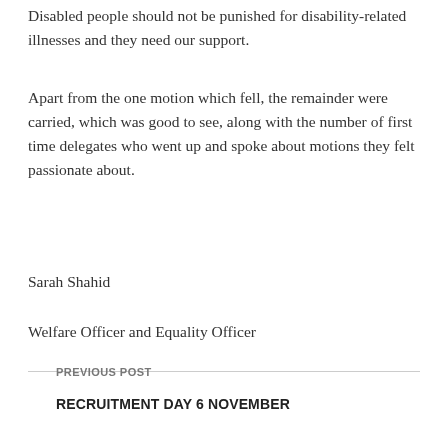Disabled people should not be punished for disability-related illnesses and they need our support.
Apart from the one motion which fell, the remainder were carried, which was good to see, along with the number of first time delegates who went up and spoke about motions they felt passionate about.
Sarah Shahid
Welfare Officer and Equality Officer
PREVIOUS POST
RECRUITMENT DAY 6 NOVEMBER